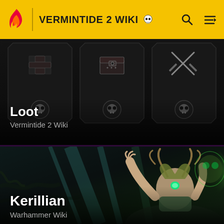VERMINTIDE 2 WIKI
[Figure (screenshot): Loot card showing three dark ornate chest/loot panels with skull and cross emblems on dark background]
Loot
Vermintide 2 Wiki
[Figure (screenshot): Kerillian character card showing an elven character with antlered leaf headdress and green glowing orb, dark mystical forest background with green glowing creature on right]
Kerillian
Warhammer Wiki